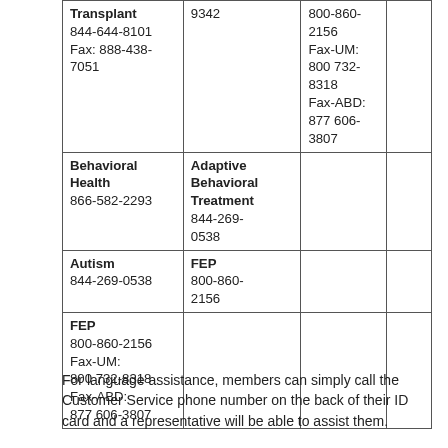| Transplant
844-644-8101
Fax: 888-438-7051 | 9342 | 800-860-2156
Fax-UM: 800 732-8318
Fax-ABD: 877 606-3807 |  |
| Behavioral Health
866-582-2293 | Adaptive Behavioral Treatment
844-269-0538 |  |  |
| Autism
844-269-0538 | FEP
800-860-2156 |  |  |
| FEP
800-860-2156
Fax-UM: 800 732-8318
Fax-ABD: 877 606-3807 |  |  |  |
For language assistance, members can simply call the Customer Service phone number on the back of their ID card and a representative will be able to assist them.